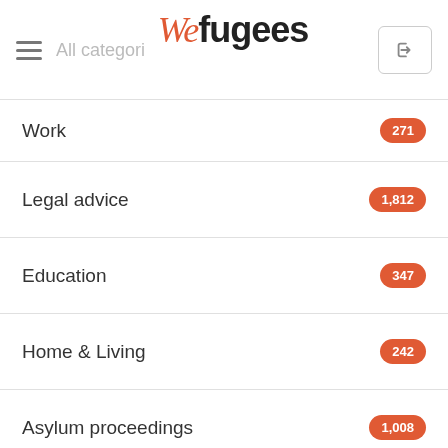All categories — Wefugees
Work — 271
Legal advice — 1,812
Education — 347
Home & Living — 242
Asylum proceedings — 1,008
Healthcare — 58
Information & Offers — 107
Activities — 81
How can I help? — 33
Money — 64